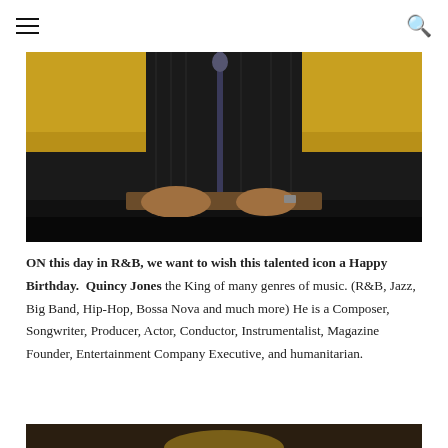≡ [menu icon]   [search icon]
[Figure (photo): Photo of a man in a dark pinstripe suit at a podium/microphone, with a golden/yellow background, shot from mid-torso down. Dark table or podium surface visible at bottom.]
ON this day in R&B, we want to wish this talented icon a Happy Birthday.  Quincy Jones the King of many genres of music. (R&B, Jazz, Big Band, Hip-Hop, Bossa Nova and much more) He is a Composer, Songwriter, Producer, Actor, Conductor, Instrumentalist, Magazine Founder, Entertainment Company Executive, and humanitarian.
[Figure (photo): Partial bottom photo showing a dark background with a partially visible golden/light element at the bottom edge.]